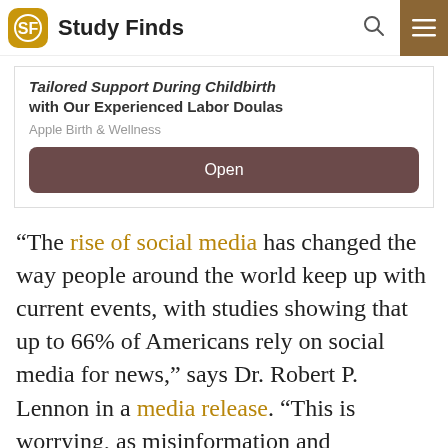Study Finds
[Figure (other): Advertisement box for Apple Birth & Wellness showing tailored support during childbirth with experienced labor doulas and an Open button]
“The rise of social media has changed the way people around the world keep up with current events, with studies showing that up to 66% of Americans rely on social media for news,” says Dr. Robert P. Lennon in a media release. “This is worrying, as misinformation and misunderstanding about COVID-19 and how it spreads is likely to have fueled the pandemic,